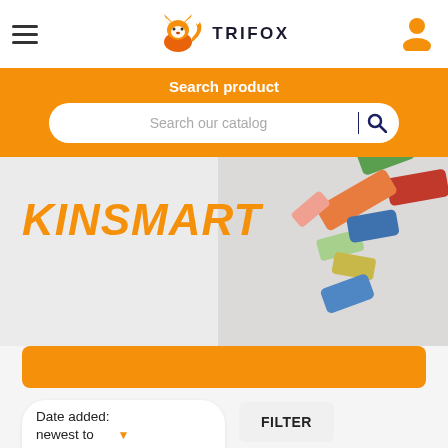TRIFOX
Search product
Search our catalog
[Figure (photo): Colorful wooden building blocks arranged on carpet]
KINSMART
Date added: newest to oldest
FILTER